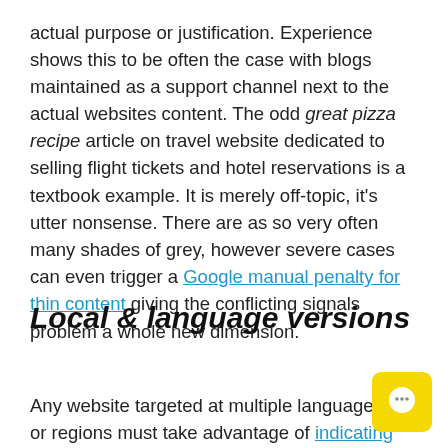actual purpose or justification. Experience shows this to be often the case with blogs maintained as a support channel next to the actual websites content. The odd great pizza recipe article on travel website dedicated to selling flight tickets and hotel reservations is a textbook example. It is merely off-topic, it's utter nonsense. There are as so very often many shades of grey, however severe cases can even trigger a Google manual penalty for thin content giving the conflicting signals problem a whole new dimension.
Local & language versions
Any website targeted at multiple language and or regions must take advantage of indicating these to Google using hreflang correctly.